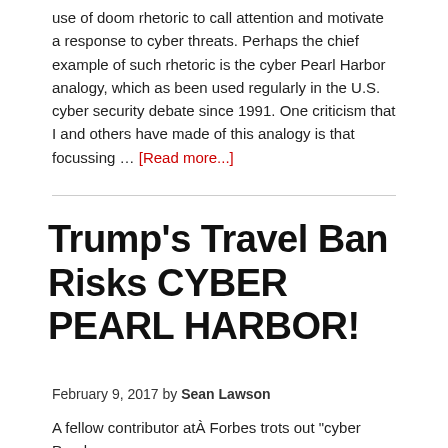use of doom rhetoric to call attention and motivate a response to cyber threats. Perhaps the chief example of such rhetoric is the cyber Pearl Harbor analogy, which as been used regularly in the U.S. cyber security debate since 1991. One criticism that I and others have made of this analogy is that focussing … [Read more...]
Trump's Travel Ban Risks CYBER PEARL HARBOR!
February 9, 2017 by Sean Lawson
A fellow contributor atÂ Forbes trots out "cyber Pearl Harbor"...